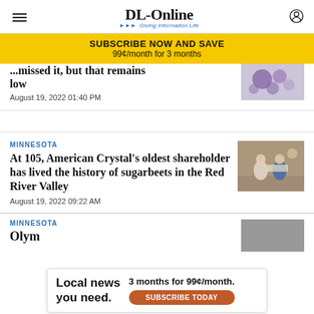DL-Online · Giving Information Life
SUBSCRIBE NOW AND SAVE 99¢/month for 3 months
...missed it, but that remains low
August 19, 2022 01:40 PM
MINNESOTA
At 105, American Crystal's oldest shareholder has lived the history of sugarbeets in the Red River Valley
August 19, 2022 09:22 AM
MINNESOTA
Olym...
Local news you need. 3 months for 99¢/month. SUBSCRIBE TODAY